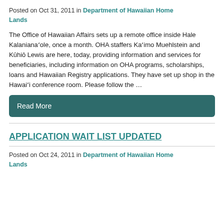Posted on Oct 31, 2011 in Department of Hawaiian Home Lands
The Office of Hawaiian Affairs sets up a remote office inside Hale Kalanianaʻole, once a month. OHA staffers Kaʻimo Muehlstein and Kūhiō Lewis are here, today, providing information and services for beneficiaries, including information on OHA programs, scholarships, loans and Hawaiian Registry applications. They have set up shop in the Hawaiʻi conference room. Please follow the …
Read More
APPLICATION WAIT LIST UPDATED
Posted on Oct 24, 2011 in Department of Hawaiian Home Lands